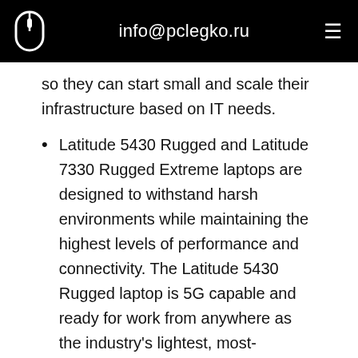info@pclegko.ru
so they can start small and scale their infrastructure based on IT needs.
Latitude 5430 Rugged and Latitude 7330 Rugged Extreme laptops are designed to withstand harsh environments while maintaining the highest levels of performance and connectivity. The Latitude 5430 Rugged laptop is 5G capable and ready for work from anywhere as the industry's lightest, most-powerful 14" semi-rugged laptop. The Latitude 7330 Rugged Extreme laptop is 5G-capable and ready to take on the most extreme environments as the industry's smallest 13" fully-rugged laptop.
These innovations are the latest examples of how Dell is expanding its existing edge portfolio with capabilities to meet unique customer needs. Dell Technologies APEX